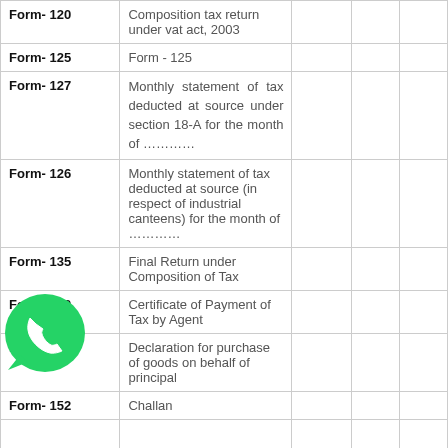| Form Number | Description |  |  |  |
| --- | --- | --- | --- | --- |
| Form- 120 | Composition tax return under vat act, 2003 |  |  |  |
| Form- 125 | Form - 125 |  |  |  |
| Form- 127 | Monthly statement of tax deducted at source under section 18-A for the month of ………… |  |  |  |
| Form- 126 | Monthly statement of tax deducted at source (in respect of industrial canteens) for the month of ………… |  |  |  |
| Form- 135 | Final Return under Composition of Tax |  |  |  |
| Form- 140 | Certificate of Payment of Tax by Agent |  |  |  |
| Form- 145 | Declaration for purchase of goods on behalf of principal |  |  |  |
| Form- 152 | Challan |  |  |  |
|  |  |  |  |  |